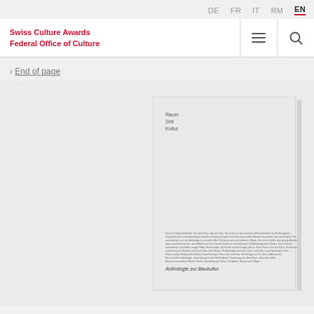DE FR IT RM EN
Swiss Culture Awards Federal Office of Culture
End of page
[Figure (photo): Book cover showing 'Raum Zeit Kultur – Anthologie zur Baukultur', a light gray minimalist book cover with small text at top and a paragraph of body text near the bottom followed by subtitle text]